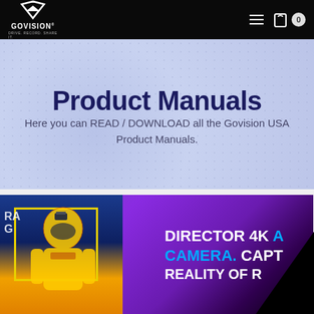GOVISION — navigation bar with logo, hamburger menu, and cart icon (0)
Product Manuals
Here you can READ / DOWNLOAD all the Govision USA Product Manuals.
[Figure (photo): Product promotional banner showing a person in a yellow racing suit and helmet on a blue background with a yellow border frame on the left, and purple/violet gradient background on the right with large text: DIRECTOR 4K / CAMERA, CAPT / REALITY OF R]